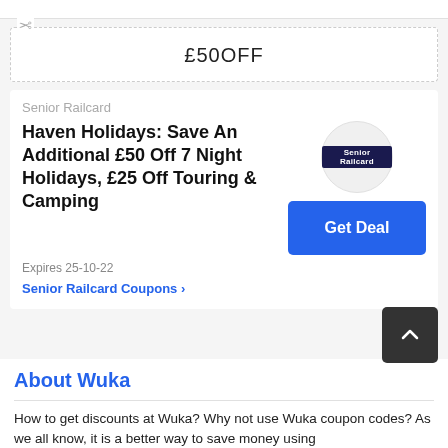£50OFF
Senior Railcard
Haven Holidays: Save An Additional £50 Off 7 Night Holidays, £25 Off Touring & Camping
Expires 25-10-22
Senior Railcard Coupons >
About Wuka
How to get discounts at Wuka? Why not use Wuka coupon codes? As we all know, it is a better way to save money using